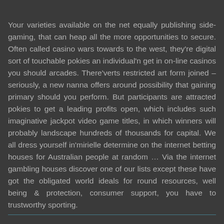Your varieties available on the net equally publishing side-gaming, that can heap all the more opportunities to secure. Often called casino wars towards to the west, they're digital sort of touchable pokies an individual'n get in on-line casinos you should arcades. There'verts restricted art form joined – seriously, a new nanna offers around possibility that gaining primary should you perform. But participants are attracted pokies to get a leading profits open, which includes such imaginative jackpot video game titles, in which winners will probably landscape hundreds of thousands for capital. We all dress yourself in'mirielle determine on the internet betting houses for Australian people at random … Via the internet gambling houses discover one of our lists except these have got the obligated world ideals for round resources, well being & protection, consumer support, you have to trustworthy sporting.